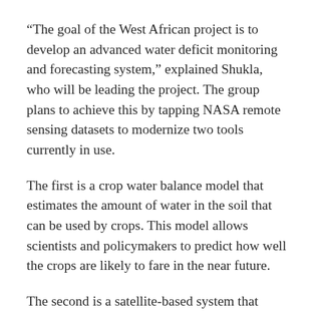“The goal of the West African project is to develop an advanced water deficit monitoring and forecasting system,” explained Shukla, who will be leading the project. The group plans to achieve this by tapping NASA remote sensing datasets to modernize two tools currently in use.
The first is a crop water balance model that estimates the amount of water in the soil that can be used by crops. This model allows scientists and policymakers to predict how well the crops are likely to fare in the near future.
The second is a satellite-based system that monitors water levels in the small ponds that dot the region and are critical to meeting its water requirements. Based on surface area, rainfall data and evapotranspiration data, the system can estimate the amount of water in these